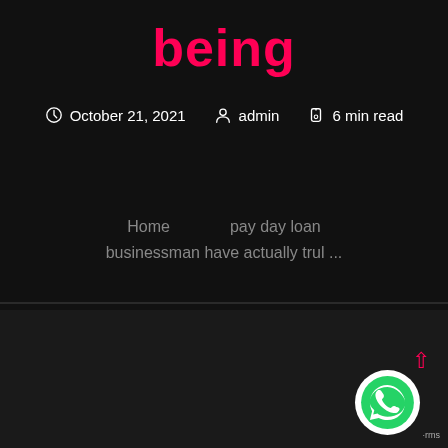being
October 21, 2021   admin   6 min read
Home   pay day loan   businessman have actually trul ...